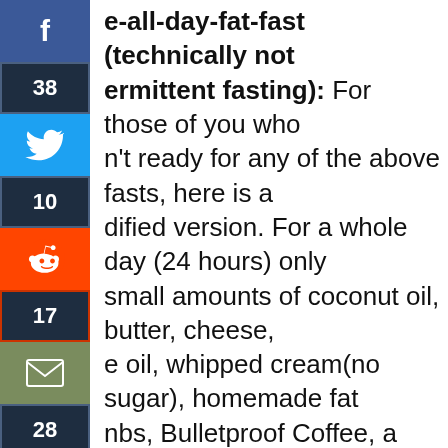e-all-day-fat-fast (technically notermittent fasting): For those of you who n't ready for any of the above fasts, here is a dified version. For a whole day (24 hours) only small amounts of coconut oil, butter, cheese, e oil, whipped cream(no sugar), homemade fat nbs, Bulletproof Coffee, a small amount of tty meat (max 5 ounces), or up to four eggs. ically, eat something small and fatty, only en you are hungry, without restrictions on food ing. Alternatively, you could have a very low orie food like a pickle or broth. It's best to have ne of these items on-hand for when you get hungry. Technically, it's not an actual fast, but it's a good start and will prime your body to burn fat and prepare you for an actual no-food-fast. Soon you'll find that you are slimmer and sexier because of lower insulin levels. This